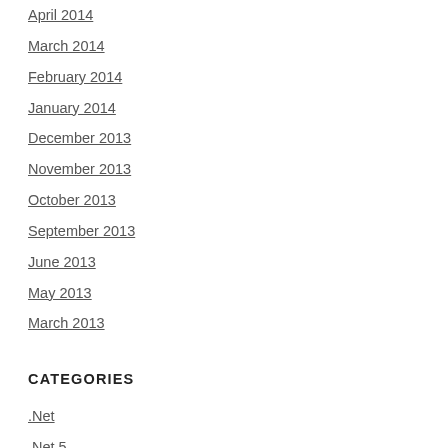April 2014
March 2014
February 2014
January 2014
December 2013
November 2013
October 2013
September 2013
June 2013
May 2013
March 2013
CATEGORIES
.Net
.Net 5
.Net 6
.Net Core